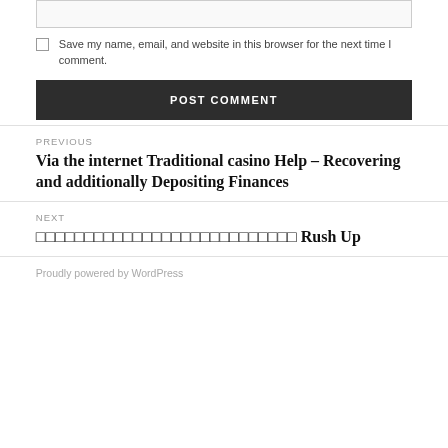[input field]
Save my name, email, and website in this browser for the next time I comment.
POST COMMENT
PREVIOUS
Via the internet Traditional casino Help – Recovering and additionally Depositing Finances
NEXT
□□□□□□□□□□□□□□□□□□□□□□□□□□□ Rush Up
Proudly powered by WordPress